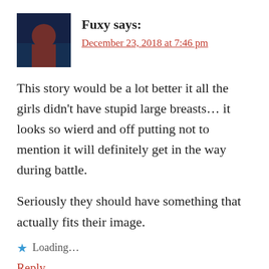Fuxy says:
December 23, 2018 at 7:46 pm
This story would be a lot better it all the girls didn't have stupid large breasts... it looks so wierd and off putting not to mention it will definitely get in the way during battle.
Seriously they should have something that actually fits their image.
Loading...
Reply
Jay says: